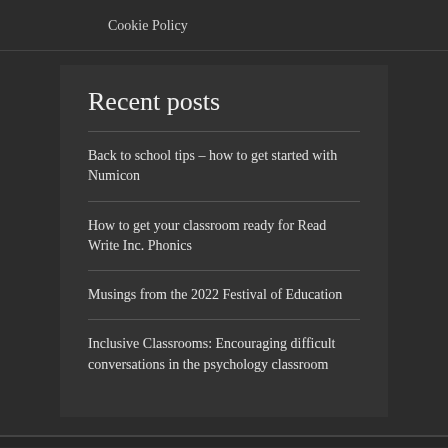Cookie Policy
Recent posts
Back to school tips – how to get started with Numicon
How to get your classroom ready for Read Write Inc. Phonics
Musings from the 2022 Festival of Education
Inclusive Classrooms: Encouraging difficult conversations in the psychology classroom